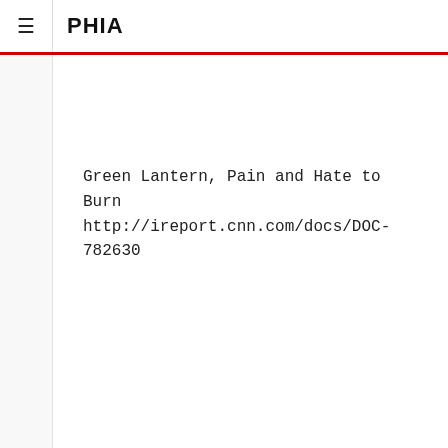≡ PHIA
Green Lantern, Pain and Hate to Burn
http://ireport.cnn.com/docs/DOC-782630